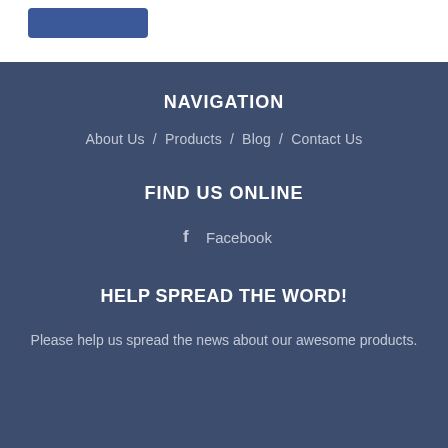[Figure (other): A dark blue rounded rectangle button in the top white section]
NAVIGATION
About Us  /  Products  /  Blog  /  Contact Us
FIND US ONLINE
Facebook
HELP SPREAD THE WORD!
Please help us spread the news about our awesome products.